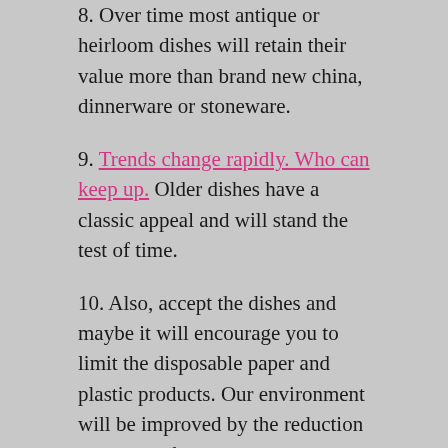8. Over time most antique or heirloom dishes will retain their value more than brand new china, dinnerware or stoneware.
9. Trends change rapidly. Who can keep up. Older dishes have a classic appeal and will stand the test of time.
10. Also, accept the dishes and maybe it will encourage you to limit the disposable paper and plastic products. Our environment will be improved by the reduction in our landfills and reduced carbon footprint.
11. One day your loved ones may not be with you but their dishes will. Even if your family dishes are not their dishes, they will bring joy and…